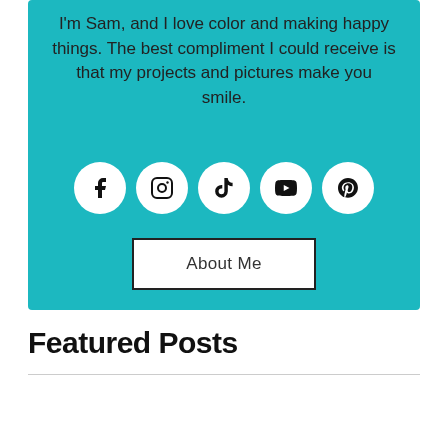I'm Sam, and I love color and making happy things. The best compliment I could receive is that my projects and pictures make you smile.
[Figure (infographic): Five social media icon circles: Facebook, Instagram, TikTok, YouTube, Pinterest — white circles with black icons on teal background]
About Me
Featured Posts